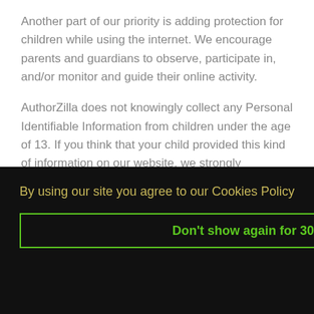Another part of our priority is adding protection for children while using the internet. We encourage parents and guardians to observe, participate in, and/or monitor and guide their online activity.
AuthorZilla does not knowingly collect any Personal Identifiable Information from children under the age of 13. If you think that your child provided this kind of information on our website, we strongly encourage you to contact us immediately and we will do our best efforts to promptly remove such information from our records.
[Figure (screenshot): Cookie consent popup with dark background. Text reads 'By using our site you agree to our Cookies Policy'. Button reads 'Don't show again for 30 days' with green border.]